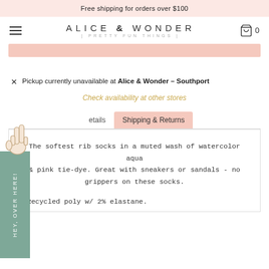Free shipping for orders over $100
ALICE & WONDER | PRETTY FUN THINGS
Pickup currently unavailable at Alice & Wonder - Southport
Check availability at other stores
Shipping & Returns
The softest rib socks in a muted wash of watercolor aqua & pink tie-dye. Great with sneakers or sandals - no grippers on these socks.
Recycled poly w/ 2% elastane.